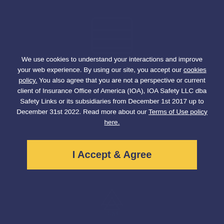We use cookies to understand your interactions and improve your web experience. By using our site, you accept our cookies policy. You also agree that you are not a perspective or current client of Insurance Office of America (IOA), IOA Safety LLC dba Safety Links or its subsidiaries from December 1st 2017 up to December 31st 2022. Read more about our Terms of Use policy here.
[Figure (other): Cookie/accept button UI with yellow 'I Accept & Agree' button on dark navy overlay background, with faint watermark graphics of a table icon, text lines, and logo behind the overlay]